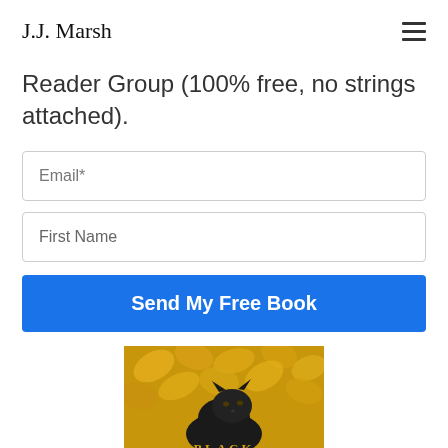J.J. Marsh
Reader Group (100% free, no strings attached).
Email*
First Name
Send My Free Book
[Figure (photo): Book cover showing a black panther against a golden butterfly background with the word BLACK visible at the bottom]